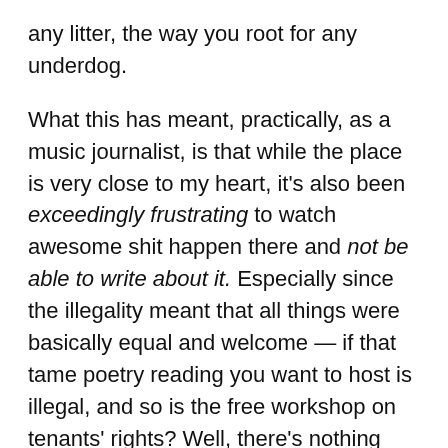any litter, the way you root for any underdog.
What this has meant, practically, as a music journalist, is that while the place is very close to my heart, it's also been exceedingly frustrating to watch awesome shit happen there and not be able to write about it. Especially since the illegality meant that all things were basically equal and welcome — if that tame poetry reading you want to host is illegal, and so is the free workshop on tenants' rights? Well, there's nothing really more illegal about an aerial dance performance/dinner party/burlesque show. It was anything goes, and truly, anything went.
In closing: Congrats, Viracocha. And here are five-plus things that may or not have happened